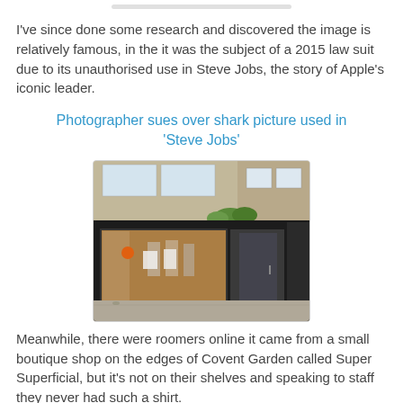I've since done some research and discovered the image is relatively famous, in the it was the subject of a 2015 law suit due to its unauthorised use in Steve Jobs, the story of Apple's iconic leader.
Photographer sues over shark picture used in 'Steve Jobs'
[Figure (photo): Photograph of a small black-fronted boutique shop storefront with large display windows, brick building above, and a pavement in front.]
Meanwhile, there were roomers online it came from a small boutique shop on the edges of Covent Garden called Super Superficial, but it's not on their shelves and speaking to staff they never had such a shirt.